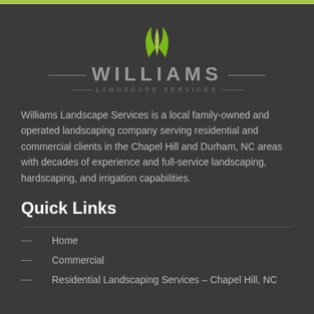[Figure (logo): Williams Landscape Services logo with green grass/leaf icon above the company name]
Williams Landscape Services is a local family-owned and operated landscaping company serving residential and commercial clients in the Chapel Hill and Durham, NC areas with decades of experience and full-service landscaping, hardscaping, and irrigation capabilities.
Quick Links
Home
Commercial
Residential Landscaping Services – Chapel Hill, NC